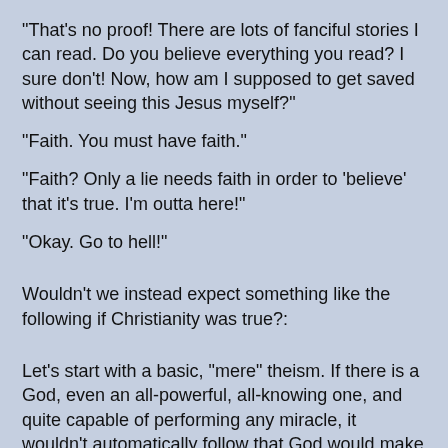"That's no proof! There are lots of fanciful stories I can read. Do you believe everything you read? I sure don't! Now, how am I supposed to get saved without seeing this Jesus myself?"
"Faith. You must have faith."
"Faith? Only a lie needs faith in order to 'believe' that it's true. I'm outta here!"
"Okay. Go to hell!"
Wouldn't we instead expect something like the following if Christianity was true?:
Let's start with a basic, "mere" theism. If there is a God, even an all-powerful, all-knowing one, and quite capable of performing any miracle, it wouldn't automatically follow that God would make miracles part of its plan for the world. All of